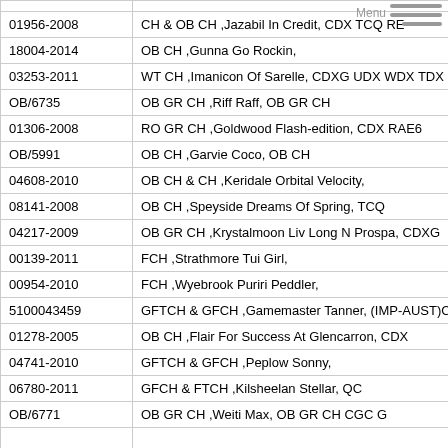| ID | Name/Title |
| --- | --- |
| 01956-2008 | CH & OB CH ,Jazabil In Credit, CDX TCQ RE |
| 18004-2014 | OB CH ,Gunna Go Rockin, |
| 03253-2011 | WT CH ,Imanicon Of Sarelle, CDXG UDX WDX TDX |
| OB/6735 | OB GR CH ,Riff Raff, OB GR CH |
| 01306-2008 | RO GR CH ,Goldwood Flash-edition, CDX RAE6 |
| OB/5991 | OB CH ,Garvie Coco, OB CH |
| 04608-2010 | OB CH & CH ,Keridale Orbital Velocity, |
| 08141-2008 | OB CH ,Speyside Dreams Of Spring, TCQ |
| 04217-2009 | OB GR CH ,Krystalmoon Liv Long N Prospa, CDXG |
| 00139-2011 | FCH ,Strathmore Tui Girl, |
| 00954-2010 | FCH ,Wyebrook Puriri Peddler, |
| 5100043459 | GFTCH & GFCH ,Gamemaster Tanner, (IMP-AUST)C |
| 01278-2005 | OB CH ,Flair For Success At Glencarron, CDX |
| 04741-2010 | GFTCH & GFCH ,Peplow Sonny, |
| 06780-2011 | GFCH & FTCH ,Kilsheelan Stellar, QC |
| OB/6771 | OB GR CH ,Weiti Max, OB GR CH CGC G |